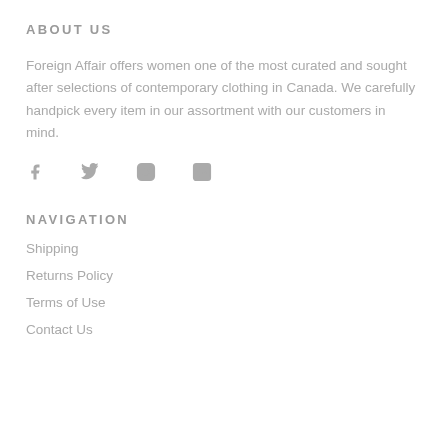ABOUT US
Foreign Affair offers women one of the most curated and sought after selections of contemporary clothing in Canada. We carefully handpick every item in our assortment with our customers in mind.
[Figure (infographic): Four social media icons: Facebook (f), Twitter (bird), Instagram (camera outline circle), LinkedIn (in square)]
NAVIGATION
Shipping
Returns Policy
Terms of Use
Contact Us